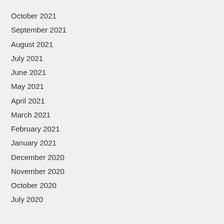October 2021
September 2021
August 2021
July 2021
June 2021
May 2021
April 2021
March 2021
February 2021
January 2021
December 2020
November 2020
October 2020
July 2020